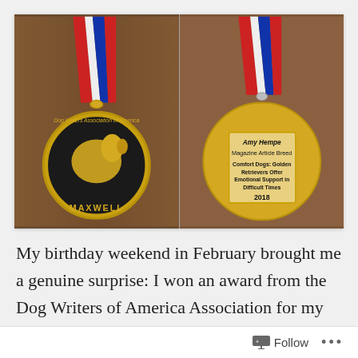[Figure (photo): Two photos of the Maxwell medal from the Dog Writers Association of America side by side. Left image shows the front of the medal with a gold dog silhouette and the word MAXWELL, hanging from a red, white, and blue ribbon. Right image shows the back of the medal with a plaque reading: Amy Hempe, Magazine Article Breed, Comfort Dogs: Golden Retrievers Offer Emotional Support in Difficult Times, 2018.]
My birthday weekend in February brought me a genuine surprise: I won an award from the Dog Writers of America Association for my story in